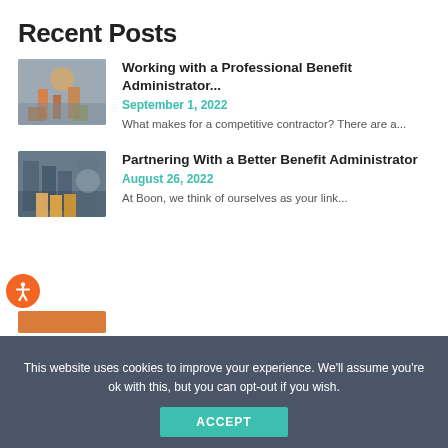Recent Posts
Working with a Professional Benefit Administrator...
September 1, 2022
What makes for a competitive contractor? There are a...
Partnering With a Better Benefit Administrator
August 26, 2022
At Boon, we think of ourselves as your link...
This website uses cookies to improve your experience. We'll assume you're ok with this, but you can opt-out if you wish.
ACCEPT